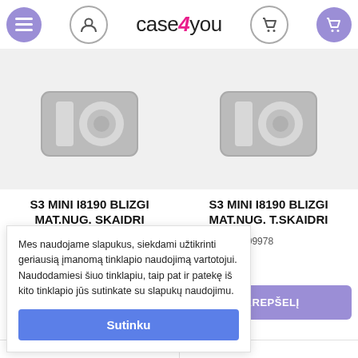[Figure (screenshot): case4you website header with navigation icons and logo]
[Figure (photo): Product placeholder image - camera icon, left product: S3 MINI I8190 BLIZGI MAT.NUG. SKAIDRI]
[Figure (photo): Product placeholder image - camera icon, right product: S3 MINI I8190 BLIZGI MAT.NUG. T.SKAIDRI]
S3 MINI I8190 BLIZGI MAT.NUG. SKAIDRI
S3 MINI I8190 BLIZGI MAT.NUG. T.SKAIDRI
das: 200000009978
3.99€
| KREPŠELĮ
Mes naudojame slapukus, siekdami užtikrinti geriausią įmanomą tinklapio naudojimą vartotojui. Naudodamiesi šiuo tinklapiu, taip pat ir patekę iš kito tinklapio jūs sutinkate su slapukų naudojimu.
Sutinku